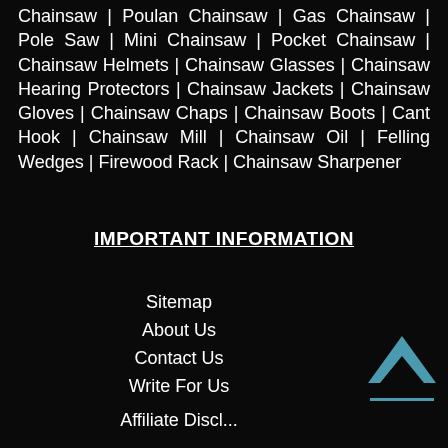Chainsaw | Poulan Chainsaw | Gas Chainsaw | Pole Saw | Mini Chainsaw | Pocket Chainsaw | Chainsaw Helmets | Chainsaw Glasses | Chainsaw Hearing Protectors | Chainsaw Jackets | Chainsaw Gloves | Chainsaw Chaps | Chainsaw Boots | Cant Hook | Chainsaw Mill | Chainsaw Oil | Felling Wedges | Firewood Rack | Chainsaw Sharpener
IMPORTANT INFORMATION
Sitemap
About Us
Contact Us
Write For Us
Affiliate Discl...
[Figure (illustration): Upward-pointing chevron/caret icon in teal/blue color with a horizontal line beneath it, serving as a scroll-to-top button]